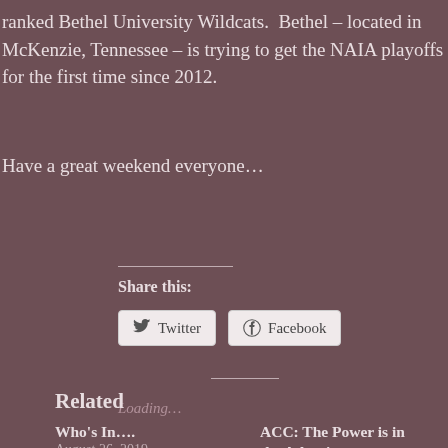ranked Bethel University Wildcats. Bethel – located in McKenzie, Tennessee – is trying to get the NAIA playoffs for the first time since 2012.
Have a great weekend everyone…
Share this:
Twitter
Facebook
Loading…
Related
Who's In….
August 26, 2019
ACC: The Power is in the Atlantic
Atlantic